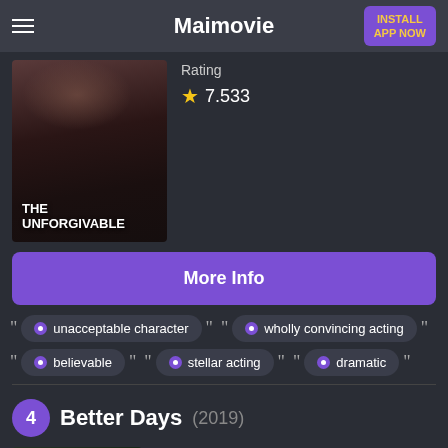Maimovie | INSTALL APP NOW
Rating
★ 7.533
[Figure (photo): Movie poster for 'The Unforgivable' — dark moody close-up of a face with bold white text reading 'THE UNFORGIVABLE']
More Info
"unacceptable character"
"wholly convincing acting"
"believable"
"stellar acting"
"dramatic"
4  Better Days (2019)
Info